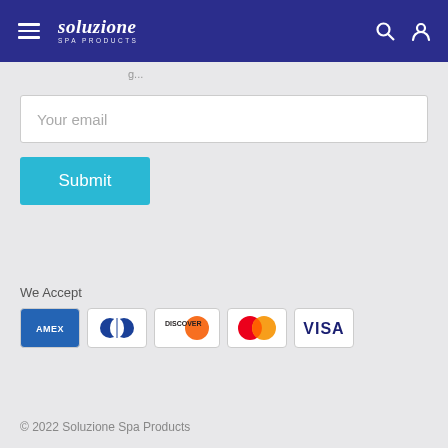soluzione SPA PRODUCTS
Your email
Submit
We Accept
[Figure (logo): Payment method logos: AMEX, Diners Club, Discover, Mastercard, Visa]
© 2022 Soluzione Spa Products